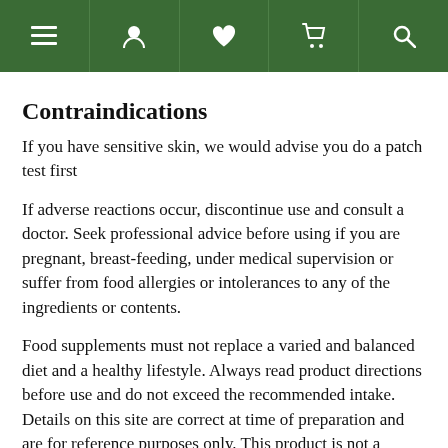Navigation bar with menu, user, heart, cart, and search icons
Contraindications
If you have sensitive skin, we would advise you do a patch test first
If adverse reactions occur, discontinue use and consult a doctor. Seek professional advice before using if you are pregnant, breast-feeding, under medical supervision or suffer from food allergies or intolerances to any of the ingredients or contents.
Food supplements must not replace a varied and balanced diet and a healthy lifestyle. Always read product directions before use and do not exceed the recommended intake. Details on this site are correct at time of preparation and are for reference purposes only. This product is not a substitute for medication or medical advice (given by a medical practitioner, pharmacist, or other health-care professional), nor intended to diagnose, treat, cure, or prevent any disease or health condition.